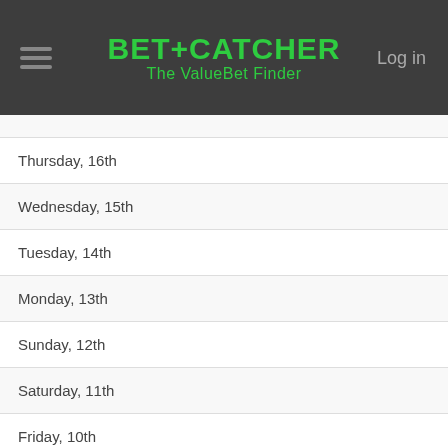BET+CATCHER The ValueBet Finder
Thursday, 16th
Wednesday, 15th
Tuesday, 14th
Monday, 13th
Sunday, 12th
Saturday, 11th
Friday, 10th
Thursday, 9th
Wednesday, 8th
Tuesday, 7th
Monday, 6th
Sunday, 5th